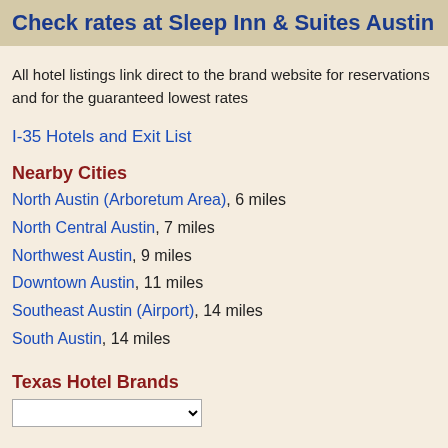Check rates at Sleep Inn & Suites Austin
All hotel listings link direct to the brand website for reservations and for the guaranteed lowest rates
I-35 Hotels and Exit List
Nearby Cities
North Austin (Arboretum Area), 6 miles
North Central Austin, 7 miles
Northwest Austin, 9 miles
Downtown Austin, 11 miles
Southeast Austin (Airport), 14 miles
South Austin, 14 miles
Texas Hotel Brands